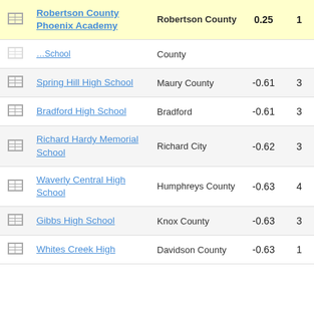|  | School | District | Score | Grade |
| --- | --- | --- | --- | --- |
| [icon] | Robertson County Phoenix Academy | Robertson County | 0.25 | 1 |
| [icon] | [partially visible school] | County |  |  |
| [icon] | Spring Hill High School | Maury County | -0.61 | 3 |
| [icon] | Bradford High School | Bradford | -0.61 | 3 |
| [icon] | Richard Hardy Memorial School | Richard City | -0.62 | 3 |
| [icon] | Waverly Central High School | Humphreys County | -0.63 | 4 |
| [icon] | Gibbs High School | Knox County | -0.63 | 3 |
| [icon] | Whites Creek High | Davidson County | -0.63 | 1 |